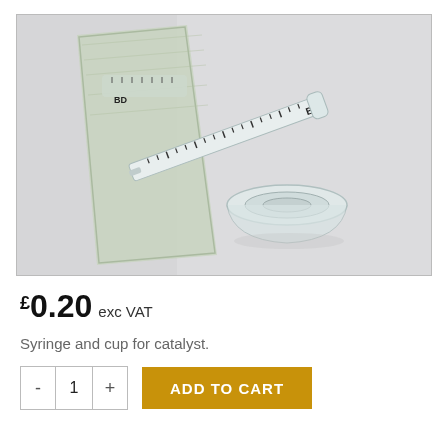[Figure (photo): Photo of a BD syringe in plastic packaging and a small clear plastic cup for catalyst, placed on a light grey/white surface.]
£0.20 exc VAT
Syringe and cup for catalyst.
- 1 + ADD TO CART